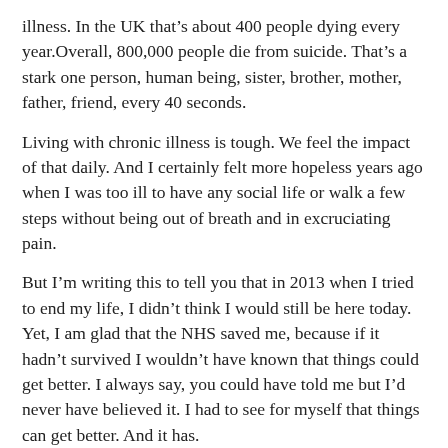illness. In the UK that’s about 400 people dying every year.Overall, 800,000 people die from suicide. That’s a stark one person, human being, sister, brother, mother, father, friend, every 40 seconds.
Living with chronic illness is tough. We feel the impact of that daily. And I certainly felt more hopeless years ago when I was too ill to have any social life or walk a few steps without being out of breath and in excruciating pain.
But I’m writing this to tell you that in 2013 when I tried to end my life, I didn’t think I would still be here today. Yet, I am glad that the NHS saved me, because if it hadn’t survived I wouldn’t have known that things could get better. I always say, you could have told me but I’d never have believed it. I had to see for myself that things can get better. And it has.
It was a long road to getting here but most of us, unless you’re terminally ill, have opportunities to improve the quality of our lives. For me it started with changing my diet, returning to fresh foods and veg, losing weight, therapy, meeting others